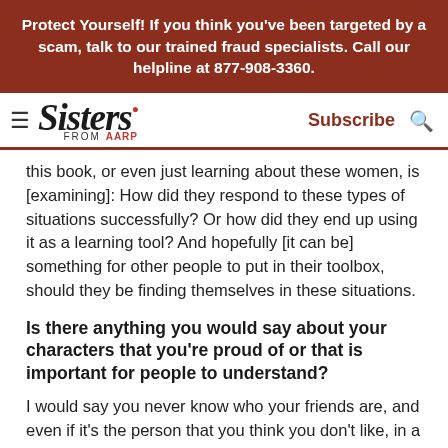Protect Yourself! If you think you've been targeted by a scam, talk to our trained fraud specialists. Call our helpline at 877-908-3360.
[Figure (logo): Sisters from AARP logo with hamburger menu, Subscribe link, and search icon in navigation bar]
this book, or even just learning about these women, is [examining]: How did they respond to these types of situations successfully? Or how did they end up using it as a learning tool? And hopefully [it can be] something for other people to put in their toolbox, should they be finding themselves in these situations.
Is there anything you would say about your characters that you're proud of or that is important for people to understand?
I would say you never know who your friends are, and even if it's the person that you think you don't like, in a